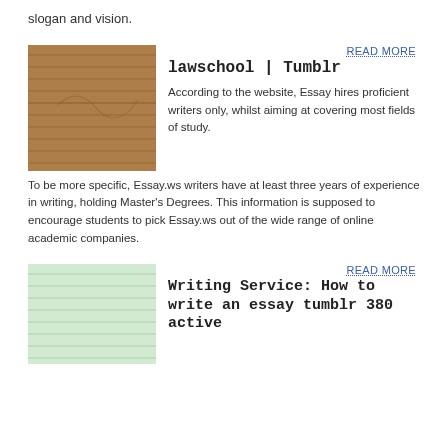slogan and vision.
[Figure (photo): Brown wooden planks texture image]
READ MORE
lawschool | Tumblr
According to the website, Essay hires proficient writers only, whilst aiming at covering most fields of study. To be more specific, Essay.ws writers have at least three years of experience in writing, holding Master's Degrees. This information is supposed to encourage students to pick Essay.ws out of the wide range of online academic companies.
[Figure (photo): Light green wooden planks texture image]
READ MORE
Writing Service: How to write an essay tumblr 380 active